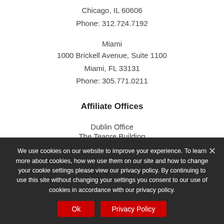Chicago, IL 60606
Phone: 312.724.7192
Miami
1000 Brickell Avenue, Suite 1100
Miami, FL 33131
Phone: 305.771.0211
Affiliate Offices
Dublin Office
The Teanre Building
We use cookies on our website to improve your experience. To learn more about cookies, how we use them on our site and how to change your cookie settings please view our privacy policy. By continuing to use this site without changing your settings you consent to our use of cookies in accordance with our privacy policy.